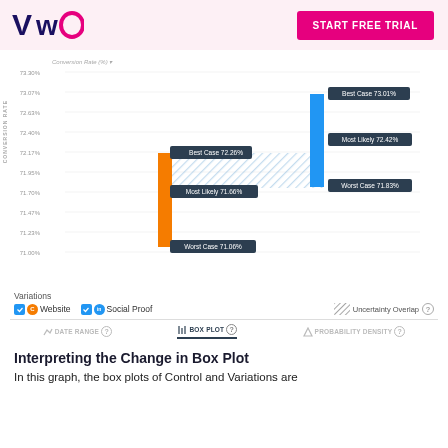VWO | START FREE TRIAL
[Figure (other): Box plot chart showing Conversion Rate (%) for two variations: Website (orange) and Social Proof (blue). Website box plot shows Best Case 72.26%, Most Likely 71.66%, Worst Case 71.06%. Social Proof box plot shows Best Case 73.01%, Most Likely 72.42%, Worst Case 71.83%. Hatched area shows Uncertainty Overlap.]
Variations  Website  Social Proof  Uncertainty Overlap
DATE RANGE   BOX PLOT   PROBABILITY DENSITY
Interpreting the Change in Box Plot
In this graph, the box plots of Control and Variations are